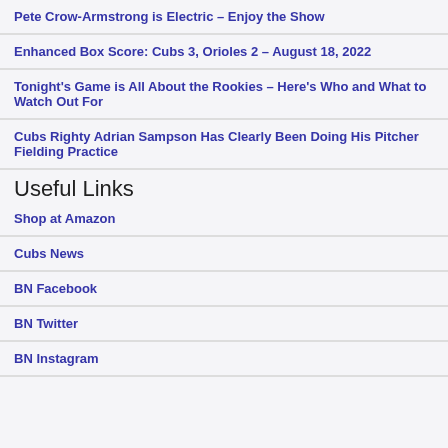Pete Crow-Armstrong is Electric – Enjoy the Show
Enhanced Box Score: Cubs 3, Orioles 2 – August 18, 2022
Tonight's Game is All About the Rookies – Here's Who and What to Watch Out For
Cubs Righty Adrian Sampson Has Clearly Been Doing His Pitcher Fielding Practice
Useful Links
Shop at Amazon
Cubs News
BN Facebook
BN Twitter
BN Instagram